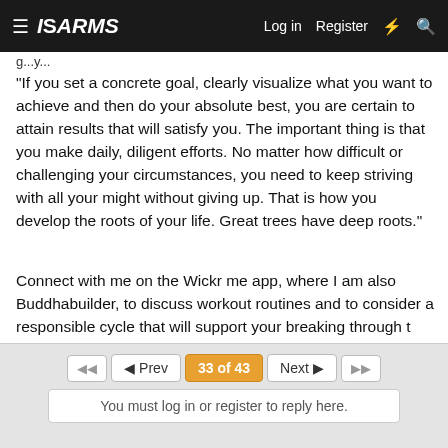≡ ISARMS  Log in  Register  ⚡ 🔍
g...y...
"If you set a concrete goal, clearly visualize what you want to achieve and then do your absolute best, you are certain to attain results that will satisfy you. The important thing is that you make daily, diligent efforts. No matter how difficult or challenging your circumstances, you need to keep striving with all your might without giving up. That is how you develop the roots of your life. Great trees have deep roots."
Connect with me on the Wickr me app, where I am also Buddhabuilder, to discuss workout routines and to consider a responsible cycle that will support your breaking through t the next level.
We are on this journey together...
◄◄  ◄ Prev  33 of 43  Next ►  ►► | You must log in or register to reply here.